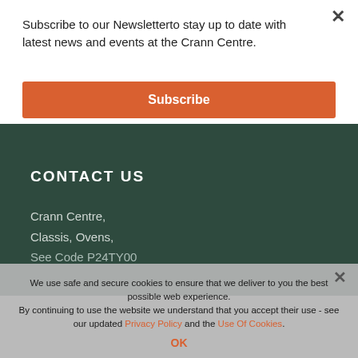Subscribe to our Newsletterto stay up to date with latest news and events at the Crann Centre.
Subscribe
CONTACT US
Crann Centre,
Classis, Ovens,
See Code P24TY00
We use safe and secure cookies to ensure that we deliver to you the best possible web experience.
By continuing to use the website we understand that you accept their use - see our updated Privacy Policy and the Use Of Cookies.
OK